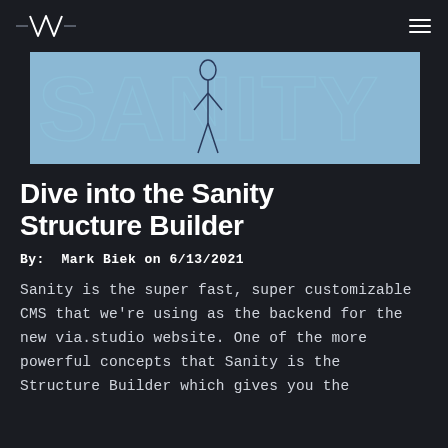[via.studio logo] [hamburger menu]
[Figure (illustration): Hero banner with light blue background showing large outlined text 'SANITY' with a dark illustrated figure/character overlaid in the center]
Dive into the Sanity Structure Builder
By: Mark Biek on 6/13/2021
Sanity is the super fast, super customizable CMS that we're using as the backend for the new via.studio website. One of the more powerful concepts that Sanity is the Structure Builder which gives you the